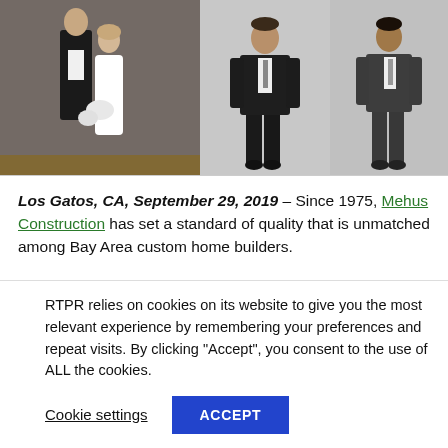[Figure (photo): Three photos: left shows a wedding couple with a man in a tuxedo and woman in a white dress; center shows a man in a dark suit standing full-length on grey background; right shows a man in a dark grey suit standing full-length on grey background.]
Los Gatos, CA, September 29, 2019 – Since 1975, Mehus Construction has set a standard of quality that is unmatched among Bay Area custom home builders.
It began with a clear vision from founder Paul Mehus, who believed in building strong relationships with clients and running his business like a family. That collaborative approach
RTPR relies on cookies on its website to give you the most relevant experience by remembering your preferences and repeat visits. By clicking "Accept", you consent to the use of ALL the cookies.
Cookie settings   ACCEPT